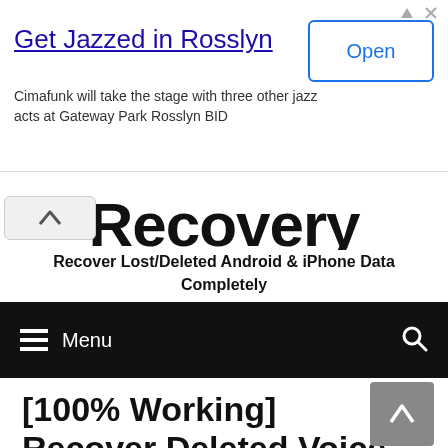[Figure (screenshot): Advertisement banner for 'Get Jazzed in Rosslyn' with Open button]
Recovery
Recover Lost/Deleted Android & iPhone Data Completely
≡ Menu
[100% Working] Recover Deleted Voice Recordings On Android